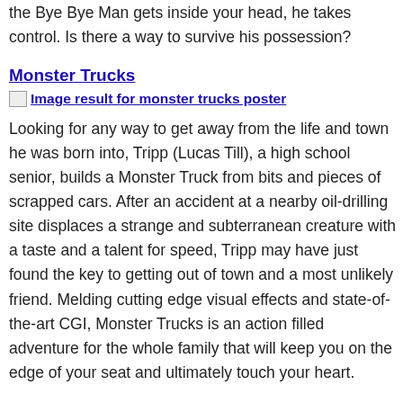unspeakable acts committed by man. When three college friends stumble upon the horrific origins of the Bye Bye Man, they discover that there is only one way to avoid his curse: don't think it, don't say it. But once the Bye Bye Man gets inside your head, he takes control. Is there a way to survive his possession?
Monster Trucks
[Figure (other): Broken image placeholder with alt text: Image result for monster trucks poster]
Looking for any way to get away from the life and town he was born into, Tripp (Lucas Till), a high school senior, builds a Monster Truck from bits and pieces of scrapped cars. After an accident at a nearby oil-drilling site displaces a strange and subterranean creature with a taste and a talent for speed, Tripp may have just found the key to getting out of town and a most unlikely friend. Melding cutting edge visual effects and state-of-the-art CGI, Monster Trucks is an action filled adventure for the whole family that will keep you on the edge of your seat and ultimately touch your heart.